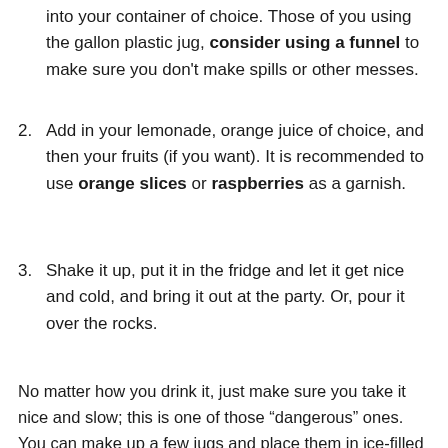into your container of choice. Those of you using the gallon plastic jug, consider using a funnel to make sure you don't make spills or other messes.
2. Add in your lemonade, orange juice of choice, and then your fruits (if you want). It is recommended to use orange slices or raspberries as a garnish.
3. Shake it up, put it in the fridge and let it get nice and cold, and bring it out at the party. Or, pour it over the rocks.
No matter how you drink it, just make sure you take it nice and slow; this is one of those “dangerous” ones. You can make up a few jugs and place them in ice-filled coolers too, that way you will have some good, cold drink to enjoy at the party.